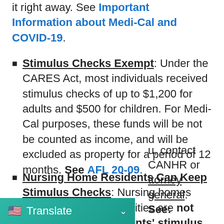it right away. See Important Information about Medi-Cal and COVID-19.
Stimulus Checks Exempt: Under the CARES Act, most individuals received stimulus checks of up to $1,200 for adults and $500 for children. For Medi-Cal purposes, these funds will be not be counted as income, and will be excluded as property for a period of 12 months. See AFL 20-09.
Nursing Home Residents Can Keep Stimulus Checks: Nursing homes and assisted living facilities are not entitled to take residents' stimulus checks. If this [happens], contact CANHR or [the attorney general]. See: